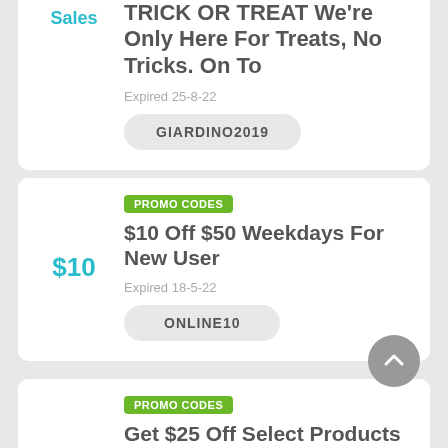Sales
TRICK OR TREAT We're Only Here For Treats, No Tricks. On To
Expired 25-8-22
GIARDINO2019
PROMO CODES
$10
$10 Off $50 Weekdays For New User
Expired 18-5-22
ONLINE10
PROMO CODES
Get $25 Off Select Products At EzCater